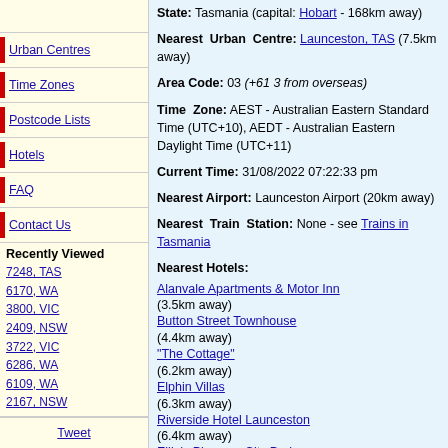Urban Centres
Time Zones
Postcode Lists
Hotels
FAQ
Contact Us
Recently Viewed
7248, TAS
6170, WA
3800, VIC
2409, NSW
3722, VIC
6286, WA
6109, WA
2167, NSW
Tweet
State: Tasmania (capital: Hobart - 168km away)
Nearest Urban Centre: Launceston, TAS (7.5km away)
Area Code: 03 (+61 3 from overseas)
Time Zone: AEST - Australian Eastern Standard Time (UTC+10), AEDT - Australian Eastern Daylight Time (UTC+11)
Current Time: 31/08/2022 07:22:33 pm
Nearest Airport: Launceston Airport (20km away)
Nearest Train Station: None - see Trains in Tasmania
Nearest Hotels:
Alanvale Apartments & Motor Inn (3.5km away)
Button Street Townhouse (4.4km away)
"The Cottage" (6.2km away)
Elphin Villas (6.3km away)
Riverside Hotel Launceston (6.4km away)
Ellie's Place on City Park (6.4km away)
Arthouse Hostel (6.4km away)
Tamar River Villas (6.5km away)
Trevallyn House B & B (6.5km away)
Hotel Launceston (6.6km away)
Mercure Launceston (6.6km away)
Clarion Hotel City Park Grand (6.6km away)
Launceston City Park Apartments (6.6km away)
Kilmarnock House Edwardian Accommodation